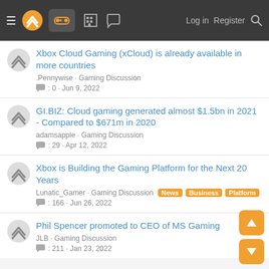Navigation bar with hamburger menu, logo, controller icon, building icon, chat icon, Log in, Register, Search
Xbox Cloud Gaming (xCloud) is already available in more countries
.Pennywise · Gaming Discussion
: 0 · Jun 9, 2022
GI.BIZ: Cloud gaming generated almost $1.5bn in 2021 - Compared to $671m in 2020
adamsapple · Gaming Discussion
: 29 · Apr 12, 2022
Xbox is Building the Gaming Platform for the Next 20 Years
Lunatic_Gamer · Gaming Discussion  News  Business  Platform
: 166 · Jun 26, 2022
Phil Spencer promoted to CEO of MS Gaming
JLB · Gaming Discussion
: 211 · Jan 23, 2022